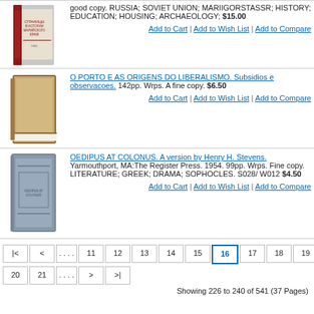[Figure (photo): Book cover image - Russian text, red spine]
good copy. RUSSIA; SOVIET UNION; MARIIGORSTASSR; HISTORY; EDUCATION; HOUSING; ARCHAEOLOGY; $15.00
Add to Cart | Add to Wish List | Add to Compare
[Figure (photo): Book cover image - tan/brown book]
O PORTO E AS ORIGENS DO LIBERALISMO. Subsidios e observacoes. 142pp. Wrps. A fine copy. $6.50
Add to Cart | Add to Wish List | Add to Compare
[Figure (photo): Book cover image - blue/grey book]
OEDIPUS AT COLONUS. A version by Henry H. Stevens. Yarmouthport, MA:The Register Press. 1954. 99pp. Wrps. Fine copy. LITERATURE; GREEK; DRAMA; SOPHOCLES. S028/ W012 $4.50
Add to Cart | Add to Wish List | Add to Compare
Showing 226 to 240 of 541 (37 Pages)